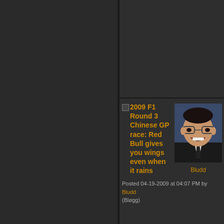satisfaction....
Continue reading...
Posted in Sports
Views 40579
Comments 4
2009 F1 Round 3 Chinese GP race: Red Bull gives you wings even when it rains
[Figure (photo): Profile photo of user Bludd showing a smiling man with glasses in a dark suit]
Bludd
Posted 04-19-2009 at 04:07 PM by Bludd (Bløgg)